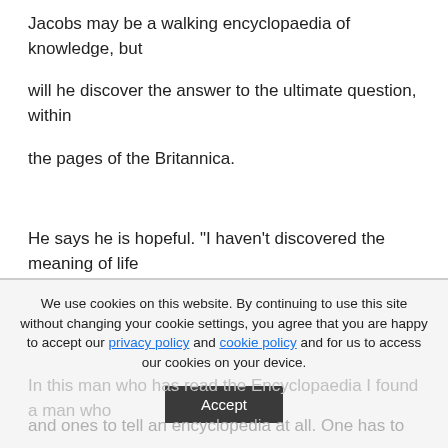Jacobs may be a walking encyclopaedia of knowledge, but
will he discover the answer to the ultimate question, within
the pages of the Britannica.
He says he is hopeful. "I haven't discovered the meaning of life
yet, but I am not up to M so it may be in there I am
We use cookies on this website. By continuing to use this site without changing your cookie settings, you agree that you are happy to accept our privacy policy and cookie policy and for us to access our cookies on your device.
Accept